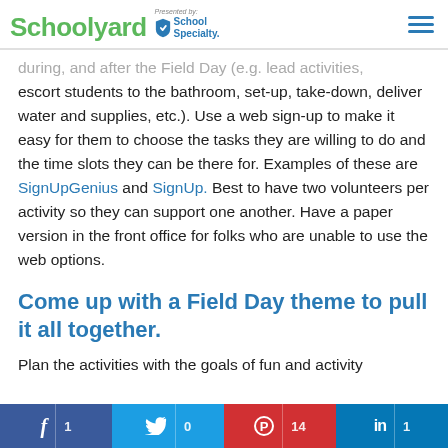Schoolyard - Presented by School Specialty
during, and after the Field Day (e.g. lead activities, escort students to the bathroom, set-up, take-down, deliver water and supplies, etc.). Use a web sign-up to make it easy for them to choose the tasks they are willing to do and the time slots they can be there for. Examples of these are SignUpGenius and SignUp. Best to have two volunteers per activity so they can support one another. Have a paper version in the front office for folks who are unable to use the web options.
Come up with a Field Day theme to pull it all together.
Plan the activities with the goals of fun and activity
f 1   Twitter 0   Pinterest 14   in 1